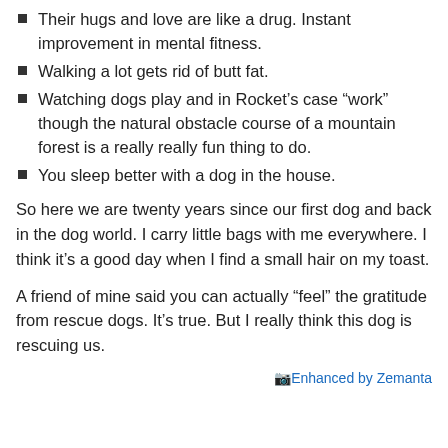Their hugs and love are like a drug. Instant improvement in mental fitness.
Walking a lot gets rid of butt fat.
Watching dogs play and in Rocket’s case “work” though the natural obstacle course of a mountain forest is a really really fun thing to do.
You sleep better with a dog in the house.
So here we are twenty years since our first dog and back in the dog world. I carry little bags with me everywhere. I think it’s a good day when I find a small hair on my toast.
A friend of mine said you can actually “feel” the gratitude from rescue dogs. It’s true. But I really think this dog is rescuing us.
Enhanced by Zemanta